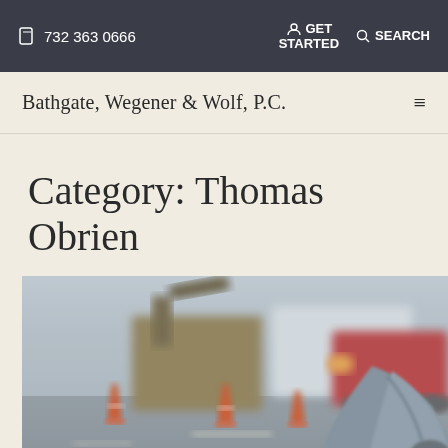732 363 0666  GET STARTED  SEARCH
Bathgate, Wegener & Wolf, P.C.
Category: Thomas Obrien
[Figure (photo): Blurred street scene with orange traffic cones, construction equipment, a red vehicle, and a worker in a safety jacket in the foreground]